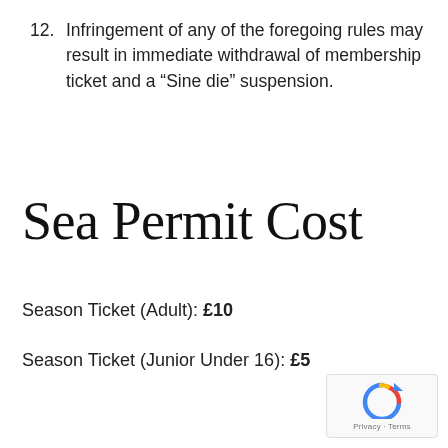12. Infringement of any of the foregoing rules may result in immediate withdrawal of membership ticket and a “Sine die” suspension.
Sea Permit Cost
Season Ticket (Adult): £10
Season Ticket (Junior Under 16): £5
[Figure (other): Google reCAPTCHA widget with lock/refresh icon and Privacy - Terms link]